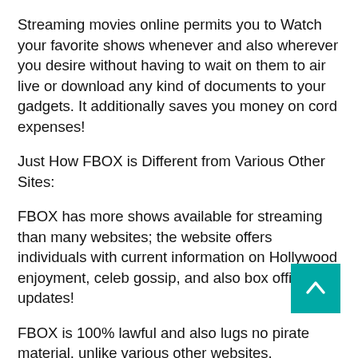Streaming movies online permits you to Watch your favorite shows whenever and also wherever you desire without having to wait on them to air live or download any kind of documents to your gadgets. It additionally saves you money on cord expenses!
Just How FBOX is Different from Various Other Sites:
FBOX has more shows available for streaming than many websites; the website offers individuals with current information on Hollywood enjoyment, celeb gossip, and also box office updates!
FBOX is 100% lawful and also lugs no pirate material, unlike various other websites.
The website gives users with a variety of television series episodes, new Movie launches, information